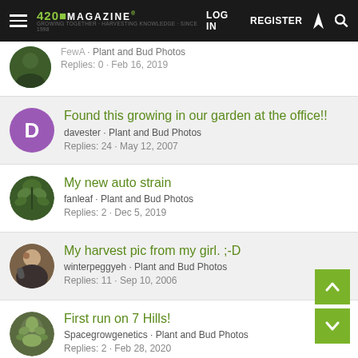420 MAGAZINE® | LOG IN | REGISTER
FewA · Plant and Bud Photos
Replies: 0 · Feb 16, 2019
Found this growing in our garden at the office!!
davester · Plant and Bud Photos
Replies: 24 · May 12, 2007
My new auto strain
fanleaf · Plant and Bud Photos
Replies: 2 · Dec 5, 2019
My harvest pic from my girl. ;-D
winterpeggyeh · Plant and Bud Photos
Replies: 11 · Sep 10, 2006
First run on 7 Hills!
Spacegrowgenetics · Plant and Bud Photos
Replies: 2 · Feb 28, 2020